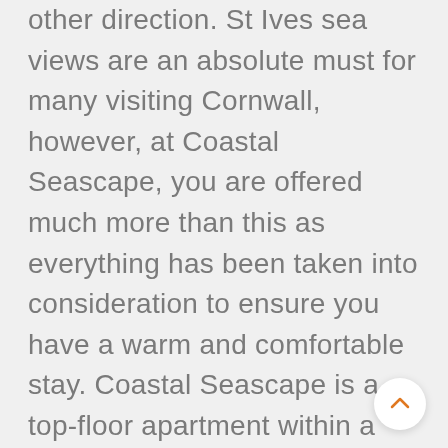other direction. St Ives sea views are an absolute must for many visiting Cornwall, however, at Coastal Seascape, you are offered much more than this as everything has been taken into consideration to ensure you have a warm and comfortable stay. Coastal Seascape is a top-floor apartment within a townhouse with just one other apartment below. The self-catering accommodation at Coastal Seascape is over two floors. The